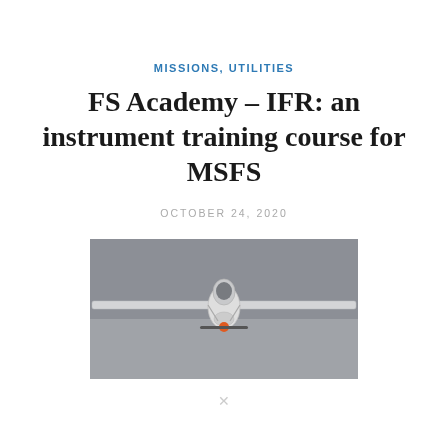MISSIONS, UTILITIES
FS Academy – IFR: an instrument training course for MSFS
OCTOBER 24, 2020
[Figure (photo): Front-facing view of a small Cessna-type aircraft against a grey overcast sky background.]